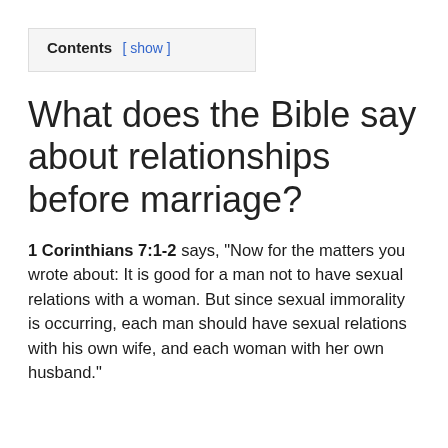Contents [ show ]
What does the Bible say about relationships before marriage?
1 Corinthians 7:1-2 says, “Now for the matters you wrote about: It is good for a man not to have sexual relations with a woman. But since sexual immorality is occurring, each man should have sexual relations with his own wife, and each woman with her own husband.”